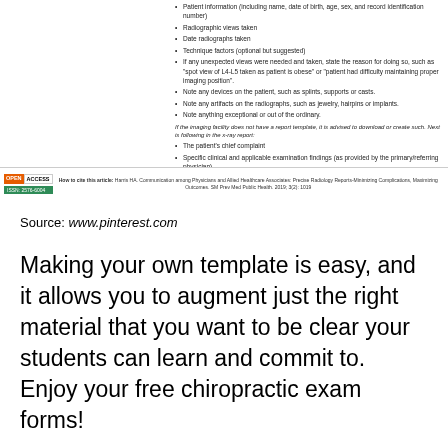Patient information (including name, date of birth, age, sex, and record identification number)
Radiographic views taken
Date radiographs taken
Technique factors (optional but suggested)
If any unexpected views were needed and taken, state the reason for doing so, such as "spot view of L4-L5 taken as patient is obese" or "patient had difficulty maintaining proper imaging position".
Note any devices on the patient, such as splints, supports or casts.
Note any artifacts on the radiographs, such as jewelry, hairpins or implants.
Note anything exceptional or out of the ordinary.
If the imaging facility does not have a report template, it is advised to download or create such. Next is following in the x-ray report:
The patient's chief complaint
Specific clinical and applicable examination findings (as provided by the primary/referring physician)
State the reason for the study (as reported by the primary/referring physician).
OPEN ACCESS ISSN: 2576-6004 | How to cite this article: Harris HA. Communication among Physicians and Allied Healthcare Associates: Precise Radiology Reports-Minimizing Complications, Maximizing Outcomes. SM Prev Med Public Health. 2019; 3(2): 1019
Source: www.pinterest.com
Making your own template is easy, and it allows you to augment just the right material that you want to be clear your students can learn and commit to. Enjoy your free chiropractic exam forms!